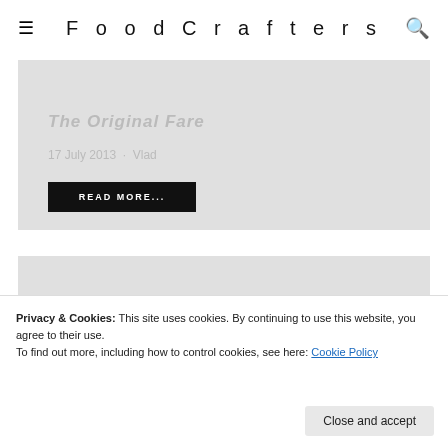FoodCrafters
The Original Fare
17 July 2013 · Vlad
READ MORE...
Recipes
READ MORE...
Privacy & Cookies: This site uses cookies. By continuing to use this website, you agree to their use.
To find out more, including how to control cookies, see here: Cookie Policy
Close and accept